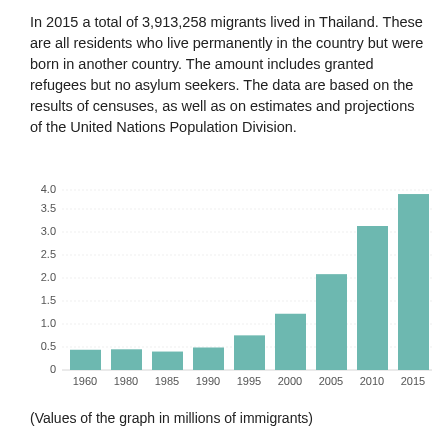In 2015 a total of 3,913,258 migrants lived in Thailand. These are all residents who live permanently in the country but were born in another country. The amount includes granted refugees but no asylum seekers. The data are based on the results of censuses, as well as on estimates and projections of the United Nations Population Division.
[Figure (bar-chart): ]
(Values of the graph in millions of immigrants)